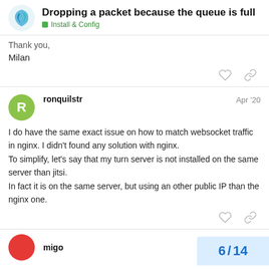Dropping a packet because the queue is full | Install & Config
Thank you,

Milan
ronquilstr  Apr '20

I do have the same exact issue on how to match websocket traffic in nginx. I didn't found any solution with nginx.
To simplify, let's say that my turn server is not installed on the same server than jitsi.
In fact it is on the same server, but using an other public IP than the nginx one.
migo